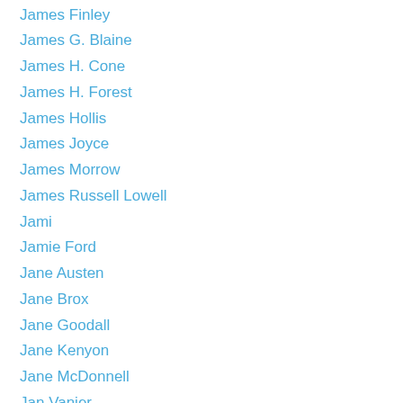James Finley
James G. Blaine
James H. Cone
James H. Forest
James Hollis
James Joyce
James Morrow
James Russell Lowell
Jami
Jamie Ford
Jane Austen
Jane Brox
Jane Goodall
Jane Kenyon
Jane McDonnell
Jan Vanier
Jan Van Ruysbroeck
Jay Shetty
J.B. Phillips
Jean Arp